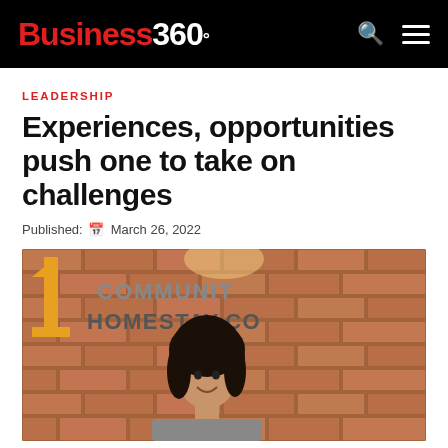Business 360°
LEADERSHIP
Experiences, opportunities push one to take on challenges
Published: March 26, 2022
[Figure (photo): A young woman smiling in front of a brick wall with a sign reading '1 Community Homestay.co']